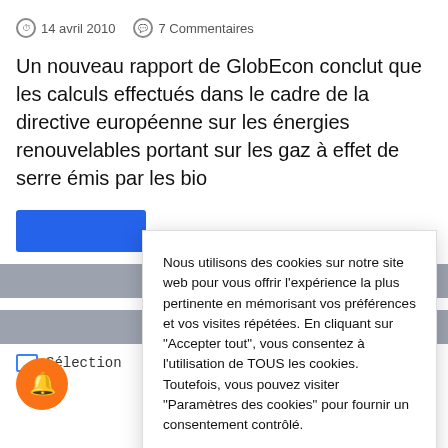14 avril 2010   7 Commentaires
Un nouveau rapport de GlobEcon conclut que les calculs effectués dans le cadre de la directive européenne sur les énergies renouvelables portant sur les gaz à effet de serre émis par les bio
Sélection
Nous utilisons des cookies sur notre site web pour vous offrir l'expérience la plus pertinente en mémorisant vos préférences et vos visites répétées. En cliquant sur "Accepter tout", vous consentez à l'utilisation de TOUS les cookies. Toutefois, vous pouvez visiter "Paramètres des cookies" pour fournir un consentement contrôlé.
Paramètres des cookies
Accepter tout